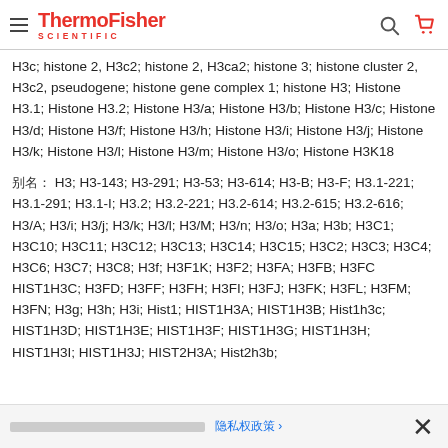ThermoFisher SCIENTIFIC
H3c; histone 2, H3c2; histone 2, H3ca2; histone 3; histone cluster 2, H3c2, pseudogene; histone gene complex 1; histone H3; Histone H3.1; Histone H3.2; Histone H3/a; Histone H3/b; Histone H3/c; Histone H3/d; Histone H3/f; Histone H3/h; Histone H3/i; Histone H3/j; Histone H3/k; Histone H3/l; Histone H3/m; Histone H3/o; Histone H3K18
别名: H3; H3-143; H3-291; H3-53; H3-614; H3-B; H3-F; H3.1-221; H3.1-291; H3.1-I; H3.2; H3.2-221; H3.2-614; H3.2-615; H3.2-616; H3/A; H3/i; H3/j; H3/k; H3/l; H3/M; H3/n; H3/o; H3a; H3b; H3C1; H3C10; H3C11; H3C12; H3C13; H3C14; H3C15; H3C2; H3C3; H3C4; H3C6; H3C7; H3C8; H3f; H3F1K; H3F2; H3FA; H3FB; H3FC HIST1H3C; H3FD; H3FF; H3FH; H3FI; H3FJ; H3FK; H3FL; H3FM; H3FN; H3g; H3h; H3i; Hist1; HIST1H3A; HIST1H3B; Hist1h3c; HIST1H3D; HIST1H3E; HIST1H3F; HIST1H3G; HIST1H3H; HIST1H3I; HIST1H3J; HIST2H3A; Hist2h3b;
Cookie notice | 隐私权政策 ›  ✕